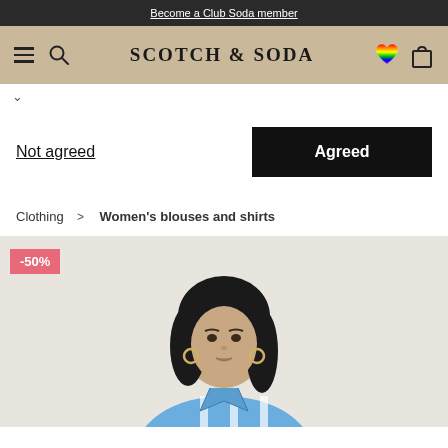Become a Club Soda member
[Figure (screenshot): Scotch & Soda navigation bar with hamburger menu, search icon, brand logo, rainbow heart wishlist icon, and shopping bag icon on a tan/beige background]
v
Not agreed
Agreed
Clothing > Women's blouses and shirts
[Figure (photo): Fashion model wearing a blue and white striped shirt, with dark hair, hoop earrings, against a light beige background. Discount badge -50% in pink top left.]